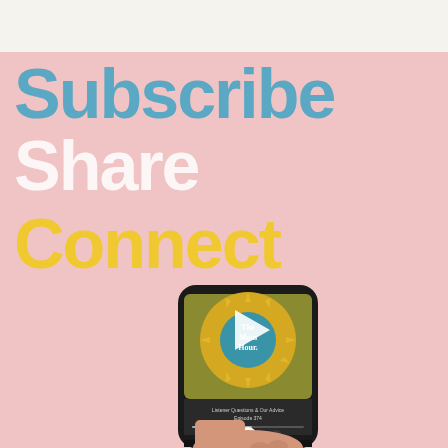[Figure (infographic): Podcast promotional graphic on pink background with large stacked text 'Subscribe', 'Share', 'Connect' in blue, white, and yellow. Below the text is a hand holding a smartphone displaying The Mom Hour podcast app with a play button overlay.]